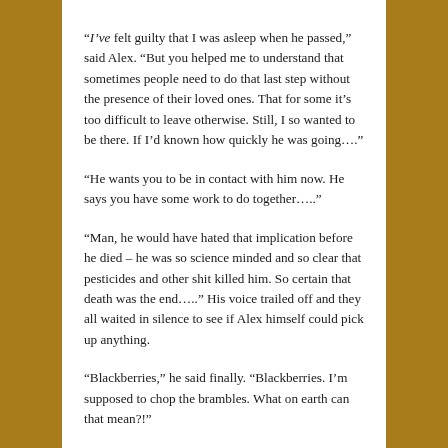“I’ve felt guilty that I was asleep when he passed,” said Alex. “But you helped me to understand that sometimes people need to do that last step without the presence of their loved ones. That for some it’s too difficult to leave otherwise. Still, I so wanted to be there. If I’d known how quickly he was going….”
“He wants you to be in contact with him now. He says you have some work to do together…..”
“Man, he would have hated that implication before he died – he was so science minded and so clear that pesticides and other shit killed him. So certain that death was the end…..” His voice trailed off and they all waited in silence to see if Alex himself could pick up anything.
“Blackberries,” he said finally. “Blackberries. I’m supposed to chop the brambles. What on earth can that mean?!”
“It’s not exactly on earth,” quipped June. “Perhaps it’s about clearing the path between your different worlds. And